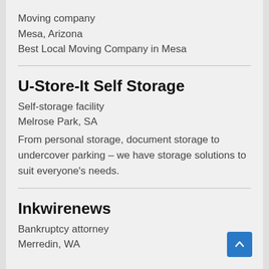Moving company
Mesa, Arizona
Best Local Moving Company in Mesa
U-Store-It Self Storage
Self-storage facility
Melrose Park, SA
From personal storage, document storage to undercover parking – we have storage solutions to suit everyone's needs.
Inkwirenews
Bankruptcy attorney
Merredin, WA